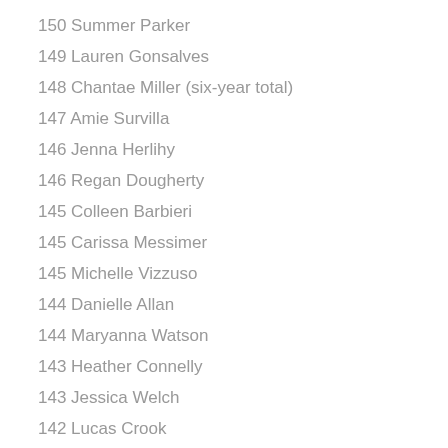150 Summer Parker
149 Lauren Gonsalves
148 Chantae Miller (six-year total)
147 Amie Survilla
146 Jenna Herlihy
146 Regan Dougherty
145 Colleen Barbieri
145 Carissa Messimer
145 Michelle Vizzuso
144 Danielle Allan
144 Maryanna Watson
143 Heather Connelly
143 Jessica Welch
142 Lucas Crook
141 Mayv Clune
141 Jane Rogers
141 Kathryn Roncoroni
141 Emma DeBerdine
141 Ava Borkowski
141 Annika Herbine